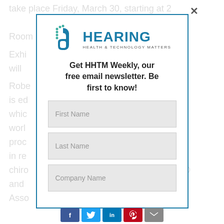take place Friday, March 30, starting at 2 n in Room
Exhi dit will
Robe on, is ed whic e worl nd proc on in re chiro CEO and Asso es
[Figure (screenshot): Modal popup for HHTM (Hearing Health & Technology Matters) newsletter signup with logo, headline 'Get HHTM Weekly, our free email newsletter. Be first to know!' and three form fields: First Name, Last Name, Company Name. Has a close (x) button in top right corner.]
[Figure (other): Social sharing buttons bar at bottom: Facebook (f), Twitter, LinkedIn (in), Pinterest (p), and email/share icon]